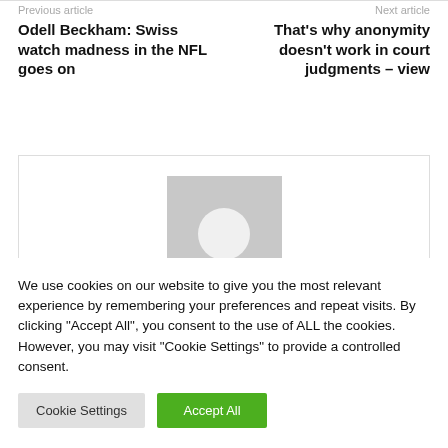Previous article
Next article
Odell Beckham: Swiss watch madness in the NFL goes on
That's why anonymity doesn't work in court judgments – view
[Figure (photo): Gray placeholder avatar image with circular silhouette representing an author profile picture]
We use cookies on our website to give you the most relevant experience by remembering your preferences and repeat visits. By clicking "Accept All", you consent to the use of ALL the cookies. However, you may visit "Cookie Settings" to provide a controlled consent.